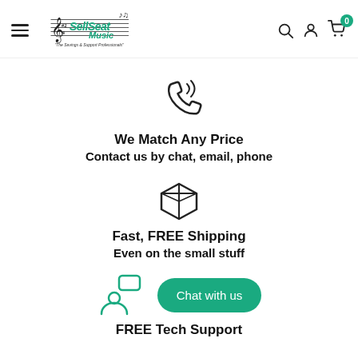SellSeat Music - The Savings & Support Professionals
[Figure (illustration): Phone icon with signal waves indicating calling]
We Match Any Price
Contact us by chat, email, phone
[Figure (illustration): Package/box icon indicating shipping]
Fast, FREE Shipping
Even on the small stuff
[Figure (illustration): Person with chat bubble icon indicating tech support]
Chat with us
FREE Tech Support